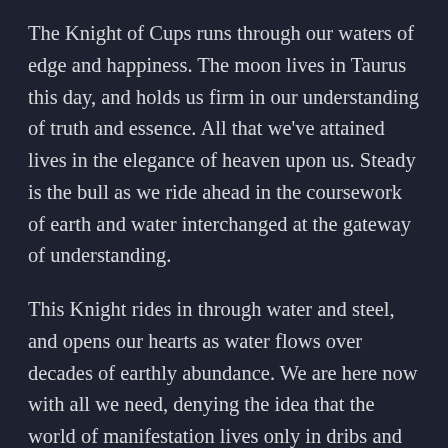The Knight of Cups runs through our waters of edge and happiness. The moon lives in Taurus this day, and holds us firm in our understanding of truth and essence. All that we've attained lives in the elegance of heaven upon us. Steady is the bull as we ride ahead in the coursework of earth and water interchanged at the gateway of understanding.
This Knight rides in through water and steel, and opens our hearts as water flows over decades of earthly abundance. We are here now with all we need, denying the idea that the world of manifestation lives only in dribs and drabs. We enliven with knowing all is ours for the asking if we believe. One drop shows us everything we need, and it is there without question to expand into an ocean of elemental expression.
Will you allow it?
This heaven sent sharing of love and adoration is our...